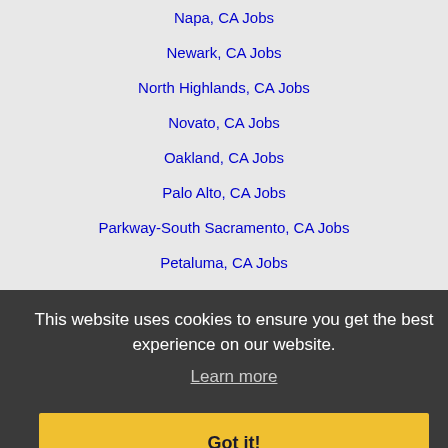Napa, CA Jobs
Newark, CA Jobs
North Highlands, CA Jobs
Novato, CA Jobs
Oakland, CA Jobs
Palo Alto, CA Jobs
Parkway-South Sacramento, CA Jobs
Petaluma, CA Jobs
Pittsburg, CA Jobs
Pleasanton, CA Jobs
Rancho Cordova, CA Jobs
Rocklin, CA Jobs
Roseville, CA Jobs
Rohnert Park, CA Jobs
Roseville, CA Jobs
Sacramento, CA Jobs
Salinas, CA Jobs
This website uses cookies to ensure you get the best experience on our website.
Learn more
Got it!